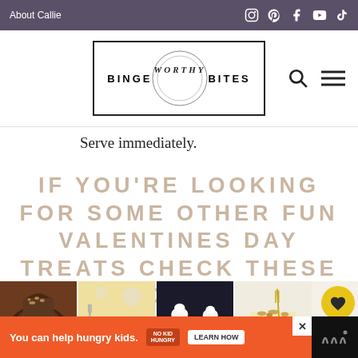About Callie
[Figure (logo): Bingeworthy Bites logo with circular script emblem]
Serve immediately.
IF YOU'RE LOOKING FOR SOME OTHER FUN VALENTINES DAY TREATS CHECK THESE OUT!
[Figure (photo): Four food photos: chocolate dessert, brûlée, meringue, cheesecake with honey]
You can help hungry kids. NO KID HUNGRY LEARN HOW